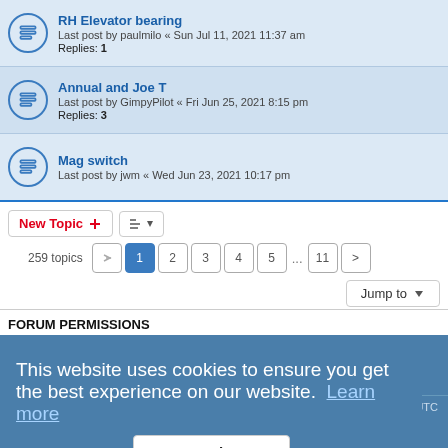RH Elevator bearing
Last post by paulmilo « Sun Jul 11, 2021 11:37 am
Replies: 1
Annual and Joe T
Last post by GimpyPilot « Fri Jun 25, 2021 8:15 pm
Replies: 3
Mag switch
Last post by jwm « Wed Jun 23, 2021 10:17 pm
New Topic  | sort button | 259 topics  1 2 3 4 5 ... 11 > | Jump to
FORUM PERMISSIONS
You cannot post new topics in this forum
You cannot reply to topics in this forum
You cannot edit your posts in this forum
You cannot delete your posts in this forum
You cannot post attachments in this forum
This website uses cookies to ensure you get the best experience on our website. Learn more
Got it!
Board index | Delete cookies  All times are UTC
Powered by phpBB® Forum Software © phpBB Limited
Privacy | Terms